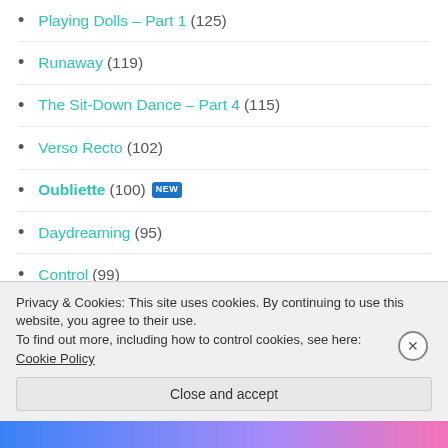Playing Dolls – Part 1 (125)
Runaway (119)
The Sit-Down Dance – Part 4 (115)
Verso Recto (102)
Oubliette (100) [NEW]
Daydreaming (95)
Control (99)
Coming of Age – Part 2 (96)
The Girl in the Mirror (88) [NEW]
Birthday Surprise (81)
Coming of Age – Part 3 (80)
Privacy & Cookies: This site uses cookies. By continuing to use this website, you agree to their use.
To find out more, including how to control cookies, see here: Cookie Policy
Close and accept